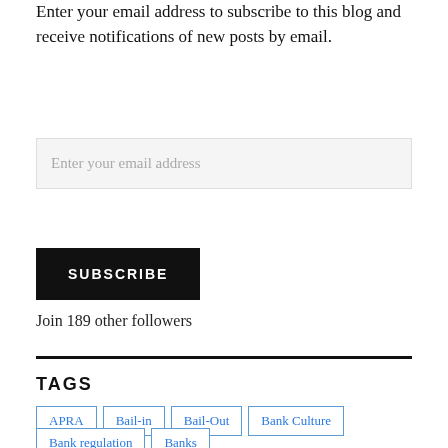Enter your email address to subscribe to this blog and receive notifications of new posts by email.
Enter your email address
SUBSCRIBE
Join 189 other followers
TAGS
APRA
Bail-in
Bail-Out
Bank Culture
Bank regulation
Banks